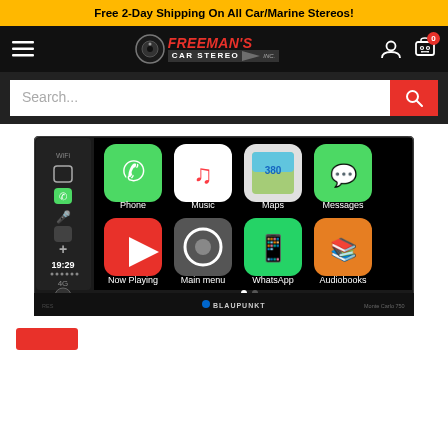Free 2-Day Shipping On All Car/Marine Stereos!
[Figure (logo): Freeman's Car Stereo logo with hamburger menu, user icon, and cart icon showing 0 items]
Search...
[Figure (photo): Blaupunkt Monte Carlo 750 double-din car stereo showing Apple CarPlay interface with Phone, Music, Maps, Messages, Now Playing, Main menu, WhatsApp, and Audiobooks icons. Time shows 19:29 with 4G signal.]